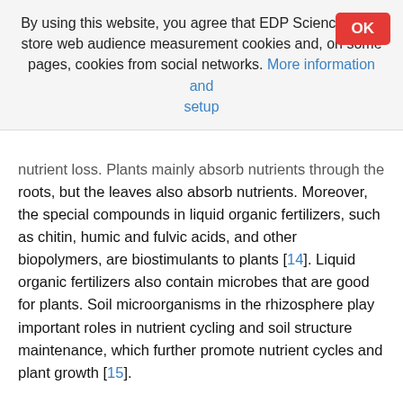By using this website, you agree that EDP Sciences may store web audience measurement cookies and, on some pages, cookies from social networks. More information and setup
nutrient loss. Plants mainly absorb nutrients through the roots, but the leaves also absorb nutrients. Moreover, the special compounds in liquid organic fertilizers, such as chitin, humic and fulvic acids, and other biopolymers, are biostimulants to plants [14]. Liquid organic fertilizers also contain microbes that are good for plants. Soil microorganisms in the rhizosphere play important roles in nutrient cycling and soil structure maintenance, which further promote nutrient cycles and plant growth [15].
Liquid organic fertilizers are applied in small amounts, meanwhile, Indah [16] compared the application of liquid organic fertilizer with a concentration of 1, 2 and 3 ml/L of water on chilies and reported a significant effect on several growth parameters and plant yields with 3 ml L-1 water as the